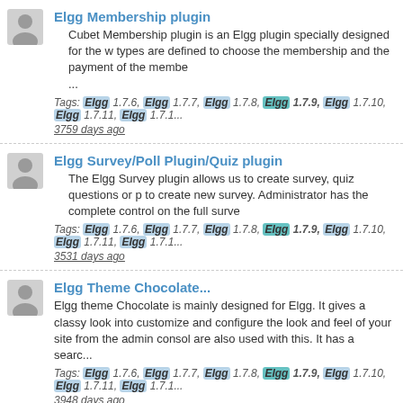Elgg Membership plugin
Cubet Membership plugin is an Elgg plugin specially designed for the w types are defined to choose the membership and the payment of the membe ...
Tags: Elgg 1.7.6, Elgg 1.7.7, Elgg 1.7.8, Elgg 1.7.9, Elgg 1.7.10, Elgg 1.7.11, Elgg 1.7.1 3759 days ago
Elgg Survey/Poll Plugin/Quiz plugin
The Elgg Survey plugin allows us to create survey, quiz questions or p to create new survey. Administrator has the complete control on the full surve
Tags: Elgg 1.7.6, Elgg 1.7.7, Elgg 1.7.8, Elgg 1.7.9, Elgg 1.7.10, Elgg 1.7.11, Elgg 1.7.1 3531 days ago
Elgg Theme Chocolate...
Elgg theme Chocolate is mainly designed for Elgg. It gives a classy look into customize and configure the look and feel of your site from the admin consol are also used with this. It has a searc...
Tags: Elgg 1.7.6, Elgg 1.7.7, Elgg 1.7.8, Elgg 1.7.9, Elgg 1.7.10, Elgg 1.7.11, Elgg 1.7.1 3948 days ago
Elgg Theme friend Finder
Elgg theme Friend Finder is a professional theme designed in Elgg. It gives a helps to customize and configure the look and feel of your site from the adm plugins are also used with thi...
Tags: Elgg 1.7.6, Elgg 1.7.7, Elgg 1.7.8, Elgg 1.7.9, Elgg 1.7.10, Elgg 1.7.11, Elgg 1.7.1